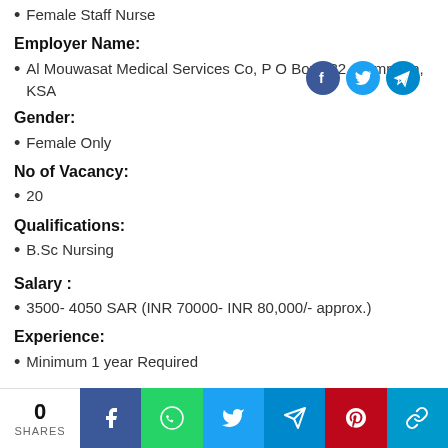Female Staff Nurse
Employer Name:
Al Mouwasat Medical Services Co, P O Box 282, Dammam, KSA
Gender:
Female Only
No of Vacancy:
20
Qualifications:
B.Sc Nursing
Salary :
3500- 4050 SAR (INR 70000- INR 80,000/- approx.)
Experience:
Minimum 1 year Required
0 SHARES